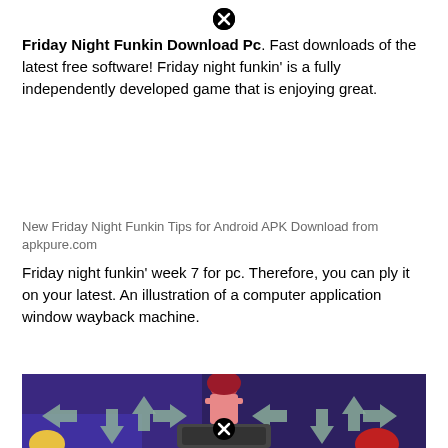Friday Night Funkin Download Pc. Fast downloads of the latest free software! Friday night funkin' is a fully independently developed game that is enjoying great.
New Friday Night Funkin Tips for Android APK Download from apkpure.com
Friday night funkin' week 7 for pc. Therefore, you can ply it on your latest. An illustration of a computer application window wayback machine.
[Figure (illustration): Screenshot from Friday Night Funkin game showing a red-haired girl sitting on a speaker with arrow direction icons on the left and right, and Among Us characters visible at the bottom.]